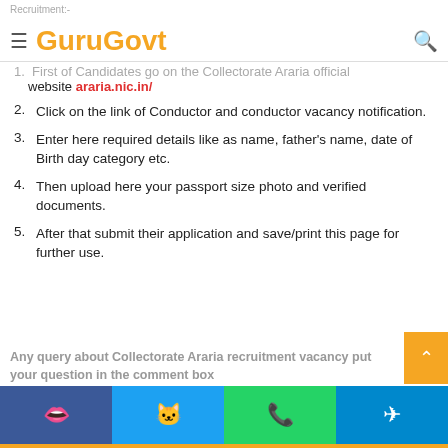Recruitment:- GuruGovt
First of Candidates go on the Collectorate Araria official website araria.nic.in/
Click on the link of Conductor and conductor vacancy notification.
Enter here required details like as name, father's name, date of Birth day category etc.
Then upload here your passport size photo and verified documents.
After that submit their application and save/print this page for further use.
Any query about Collectorate Araria recruitment vacancy put your question in the comment box